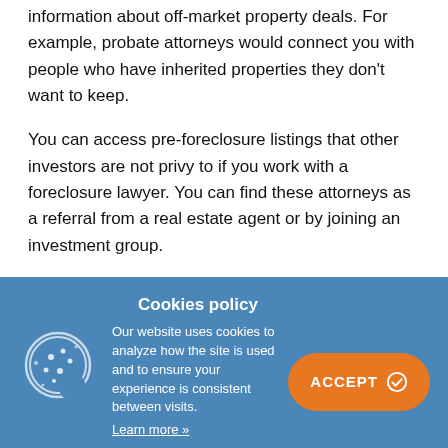information about off-market property deals. For example, probate attorneys would connect you with people who have inherited properties they don't want to keep.
You can access pre-foreclosure listings that other investors are not privy to if you work with a foreclosure lawyer. You can find these attorneys as a referral from a real estate agent or by joining an investment group.
[Figure (other): Cookies policy banner with cookie icon, policy text, and orange ACCEPT button]
Cookies policy
Our website uses cookies to analyze how the site is used and to ensure your experience is consistent between visits. Learn more »